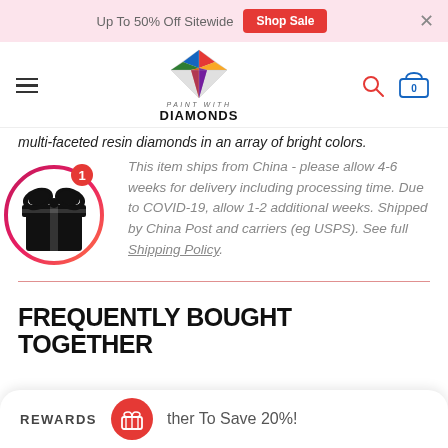Up To 50% Off Sitewide  Shop Sale  ×
[Figure (logo): Paint With Diamonds logo with colorful diamond icon]
multi-faceted resin diamonds in an array of bright colors.
This item ships from China - please allow 4-6 weeks for delivery including processing time. Due to COVID-19, allow 1-2 additional weeks. Shipped by China Post and carriers (eg USPS). See full Shipping Policy.
[Figure (illustration): Gift box icon with notification badge showing 1, in gradient orange-pink circle]
FREQUENTLY BOUGHT TOGETHER
ther To Save 20%!
REWARDS